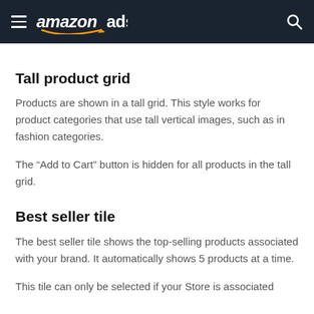amazon ads
Tall product grid
Products are shown in a tall grid. This style works for product categories that use tall vertical images, such as in fashion categories.
The “Add to Cart” button is hidden for all products in the tall grid.
Best seller tile
The best seller tile shows the top-selling products associated with your brand. It automatically shows 5 products at a time.
This tile can only be selected if your Store is associated